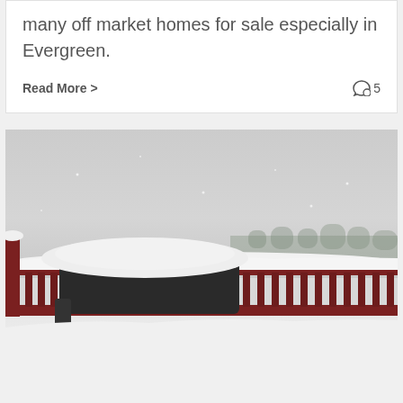many off market homes for sale especially in Evergreen.
Read More > 5
[Figure (photo): A snowy outdoor deck scene with a snow-covered grill and red wooden railing. Heavy snow covers the surfaces and a line of evergreen trees is visible in the misty background.]